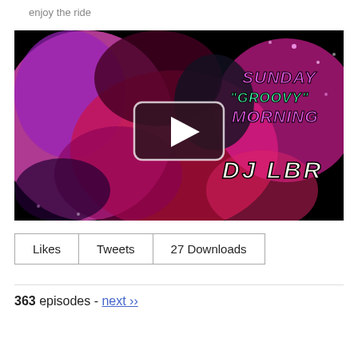enjoy the ride
[Figure (other): Video thumbnail for Sunday 'Groovy' Morning by DJ LBR with a play button overlay. Background shows colorful abstract pink, red, purple imagery. Text on the right reads SUNDAY 'GROOVY' MORNING DJ LBR.]
Likes  Tweets  27 Downloads
363 episodes - next ››